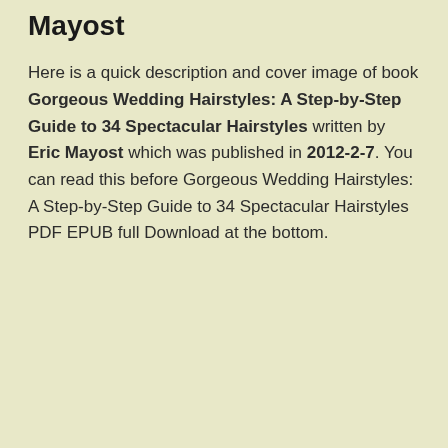Mayost
Here is a quick description and cover image of book Gorgeous Wedding Hairstyles: A Step-by-Step Guide to 34 Spectacular Hairstyles written by Eric Mayost which was published in 2012-2-7. You can read this before Gorgeous Wedding Hairstyles: A Step-by-Step Guide to 34 Spectacular Hairstyles PDF EPUB full Download at the bottom.